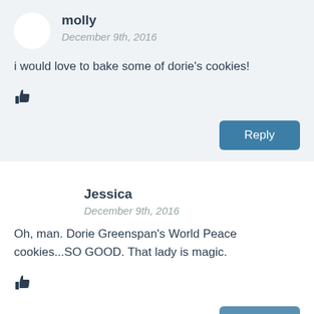molly
December 9th, 2016
i would love to bake some of dorie's cookies!
Reply
Jessica
December 9th, 2016
Oh, man. Dorie Greenspan's World Peace cookies...SO GOOD. That lady is magic.